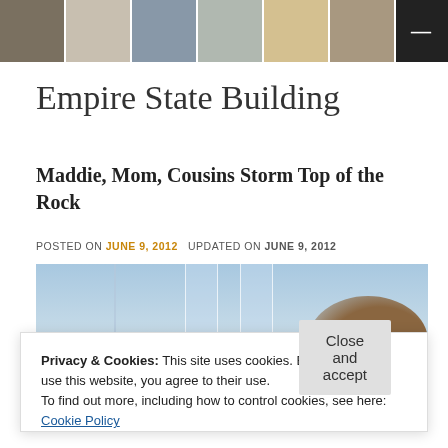[Figure (photo): Header photo strip with 6 thumbnail photos and a dark button with minus sign on the right]
Empire State Building
Maddie, Mom, Cousins Storm Top of the Rock
POSTED ON JUNE 9, 2012   UPDATED ON JUNE 9, 2012
[Figure (photo): Photo of sky with glass panels/railings and a person's head (brown hair) visible at the right side, taken from an observation deck]
Privacy & Cookies: This site uses cookies. By continuing to use this website, you agree to their use.
To find out more, including how to control cookies, see here: Cookie Policy
Close and accept